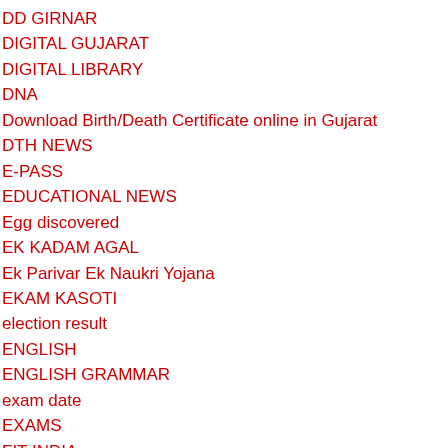DD GIRNAR
DIGITAL GUJARAT
DIGITAL LIBRARY
DNA
Download Birth/Death Certificate online in Gujarat
DTH NEWS
E-PASS
EDUCATIONAL NEWS
Egg discovered
EK KADAM AGAL
Ek Parivar Ek Naukri Yojana
EKAM KASOTI
election result
ENGLISH
ENGLISH GRAMMAR
exam date
EXAMS
FIT INDIA